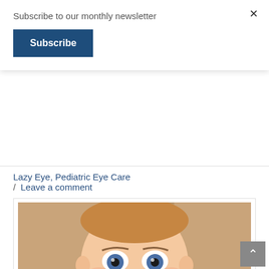Subscribe to our monthly newsletter
Subscribe
Lazy Eye, Pediatric Eye Care
/ Leave a comment
[Figure (photo): Close-up portrait of a young toddler with large blue eyes, light skin, and a neutral expression, against a blurred woven background.]
The last thing parents think of when they gaze into their child's wonder-filled eyes is statistics